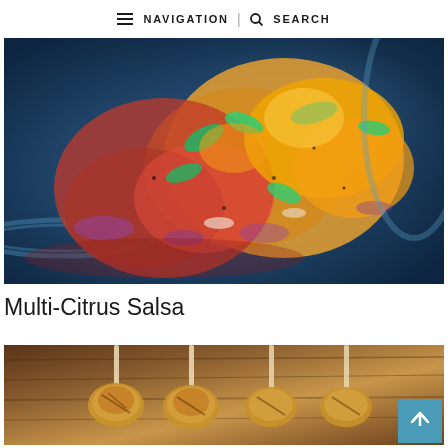NAVIGATION | SEARCH
[Figure (photo): Overhead view of a colorful citrus salsa in a blue glass bowl, with orange and grapefruit segments, red onion, and fresh mint leaves]
Multi-Citrus Salsa
[Figure (photo): Partial view of grilled chicken skewers on wooden sticks arranged on a wooden cutting board]